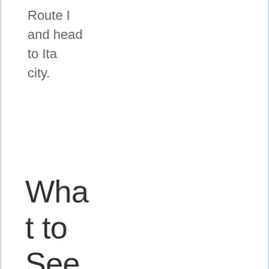Route I and head to Ita city.
What to See
[Figure (photo): A street scene at sunset/dusk showing a car driving down a road with warm golden light and urban surroundings]
Going through the route will take